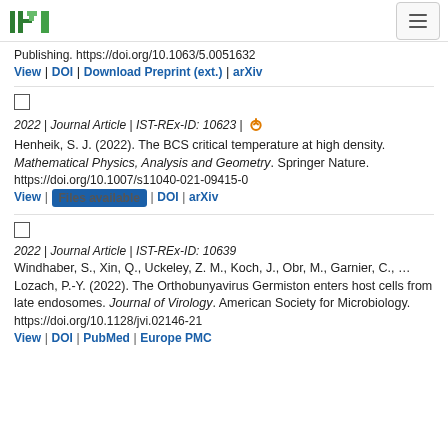ISTA logo and navigation
Publishing. https://doi.org/10.1063/5.0051632
View | DOI | Download Preprint (ext.) | arXiv
2022 | Journal Article | IST-REx-ID: 10623 | [open access icon]
Henheik, S. J. (2022). The BCS critical temperature at high density. Mathematical Physics, Analysis and Geometry. Springer Nature. https://doi.org/10.1007/s11040-021-09415-0
View | Files available | DOI | arXiv
2022 | Journal Article | IST-REx-ID: 10639
Windhaber, S., Xin, Q., Uckeley, Z. M., Koch, J., Obr, M., Garnier, C., … Lozach, P.-Y. (2022). The Orthobunyavirus Germiston enters host cells from late endosomes. Journal of Virology. American Society for Microbiology. https://doi.org/10.1128/jvi.02146-21
View | DOI | PubMed | Europe PMC